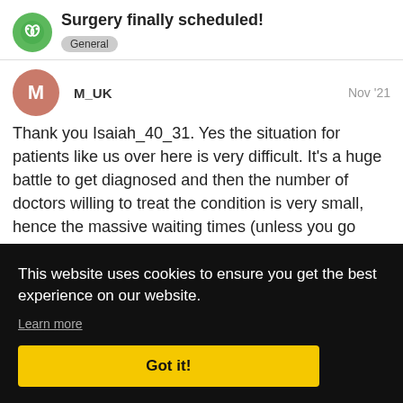Surgery finally scheduled! General
M_UK  Nov '21
Thank you Isaiah_40_31. Yes the situation for patients like us over here is very difficult. It's a huge battle to get diagnosed and then the number of doctors willing to treat the condition is very small, hence the massive waiting times (unless you go private). Hopefully my story will show others here in the UK that although it's difficult at the moment it is possible to
This website uses cookies to ensure you get the best experience on our website.
Learn more
Got it!